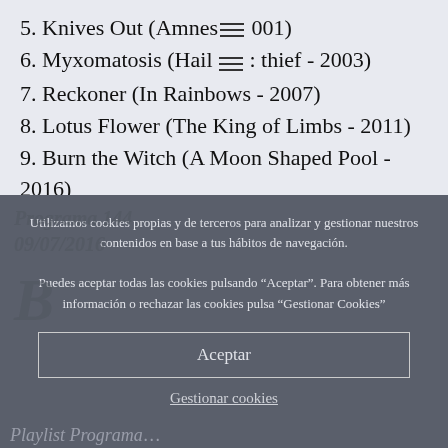5. Knives Out (Amnesiac - 2001)
6. Myxomatosis (Hail to the thief - 2003)
7. Reckoner (In Rainbows - 2007)
8. Lotus Flower (The King of Limbs - 2011)
9. Burn the Witch (A Moon Shaped Pool - 2016)
10. The Numbers (A Moon Shaped Pool - 2016)
Utilizamos cookies propias y de terceros para analizar y gestionar nuestros contenidos en base a tus hábitos de navegación.
Puedes aceptar todas las cookies pulsando "Aceptar". Para obtener más información o rechazar las cookies pulsa "Gestionar Cookies"
Aceptar
Gestionar cookies